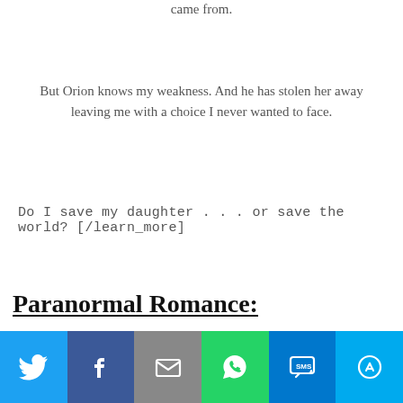came from.
But Orion knows my weakness. And he has stolen her away leaving me with a choice I never wanted to face.
Do I save my daughter . . . or save the world? [/learn_more]
Paranormal Romance:
[Figure (infographic): Social sharing bar with icons for Twitter, Facebook, Email, WhatsApp, SMS, and More]